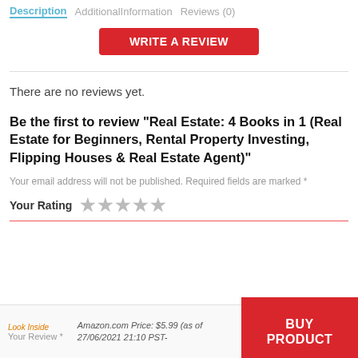Description  AdditionalInformation  Reviews (0)
WRITE A REVIEW
There are no reviews yet.
Be the first to review “Real Estate: 4 Books in 1 (Real Estate for Beginners, Rental Property Investing, Flipping Houses & Real Estate Agent)”
Your email address will not be published. Required fields are marked *
Your Rating ★★★★★
Amazon.com Price: $5.99 (as of 27/06/2021 21:10 PST-
Your Review *
BUY PRODUCT